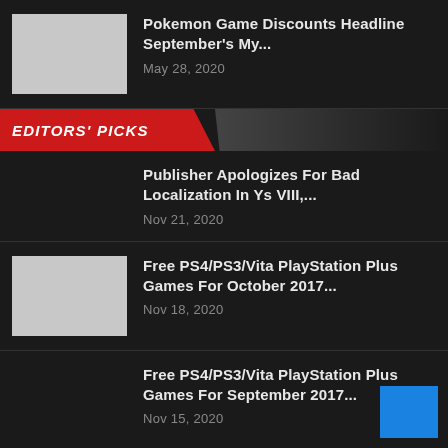Pokemon Game Discounts Headline September's My...
EDITORS' PICKS
Publisher Apologizes For Bad Localization In Ys VIII,...
Free PS4/PS3/Vita PlayStation Plus Games For October 2017...
Free PS4/PS3/Vita PlayStation Plus Games For September 2017...